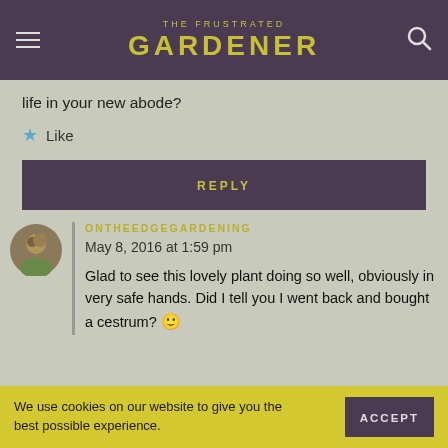THE FRUSTRATED GARDENER
life in your new abode?
Like
REPLY
ONTHEEDGEGARDENING
May 8, 2016 at 1:59 pm
Glad to see this lovely plant doing so well, obviously in very safe hands. Did I tell you I went back and bought a cestrum? 🙂
We use cookies on our website to give you the best possible experience.